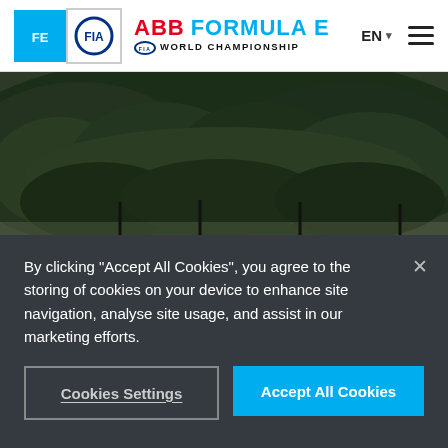ABB FORMULA E FIA WORLD CHAMPIONSHIP
[Figure (photo): Outdoor racing circuit with white barrier wall in the foreground and dense green trees on a hillside in the background. Orange and grey track surface visible at the bottom.]
By clicking “Accept All Cookies”, you agree to the storing of cookies on your device to enhance site navigation, analyse site usage, and assist in our marketing efforts.
Cookies Settings
Accept All Cookies